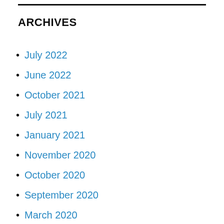ARCHIVES
July 2022
June 2022
October 2021
July 2021
January 2021
November 2020
October 2020
September 2020
March 2020
February 2020
January 2020
August 2019
July 2019